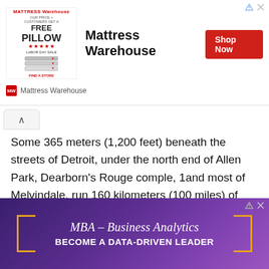[Figure (other): Mattress Warehouse advertisement banner with logo, brand name, and Shop Now button]
Some 365 meters (1,200 feet) beneath the streets of Detroit, under the north end of Allen Park, Dearborn's Rouge comple, 1and most of Melvindale, run 160 kilometers (100 miles) of subterranean roads over an area of more than 600 hectare (1,500 acres). It is the Detroit Salt Mine, and, as a Detroit industry, it is older than automobiles. As a geological entity, this salt deposit is older even than the dinosaurs.
[Figure (other): MBA – Business Analytics advertisement with text BECOME A DATA-DRIVEN LEADER on purple background]